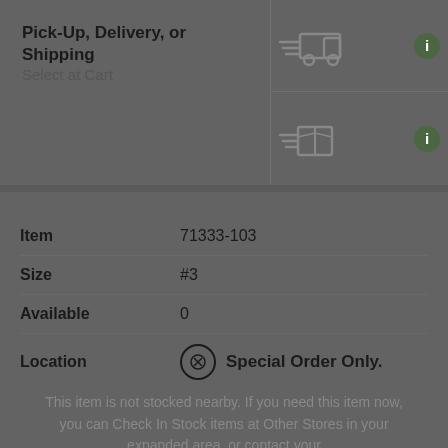Pick-Up, Delivery, or Shipping
Select at Cart
[Figure (illustration): Delivery truck icon with motion lines]
[Figure (illustration): Shipping box icon with motion lines]
| Label | Value |
| --- | --- |
| Item | 71333-103 |
| Size | #3 |
| Available | 0 |
| Location | ⊗ Special Order Only. |
This item is not stocked nearby. If you need this item now, you can Check In Stock items at Other Stores in your expanded area, or contact your